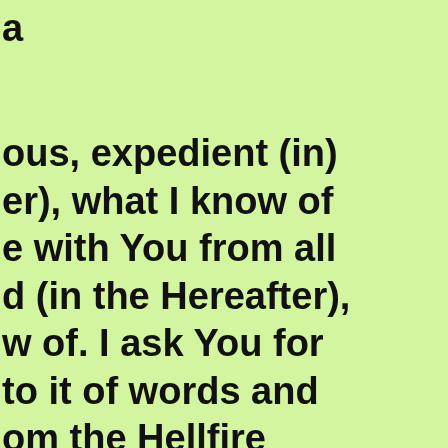a
ous, expedient (in) er), what I know of e with You from all d (in the Hereafter), w of. I ask You for to it of words and om the Hellfire